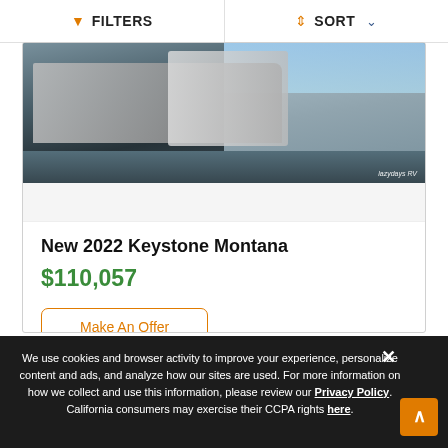FILTERS   SORT
[Figure (photo): Photo of a 2022 Keystone Montana RV/fifth-wheel trailer parked outdoors, with Lazydays RV watermark]
New 2022 Keystone Montana
$110,057
Make An Offer
We use cookies and browser activity to improve your experience, personalize content and ads, and analyze how our sites are used. For more information on how we collect and use this information, please review our Privacy Policy. California consumers may exercise their CCPA rights here.